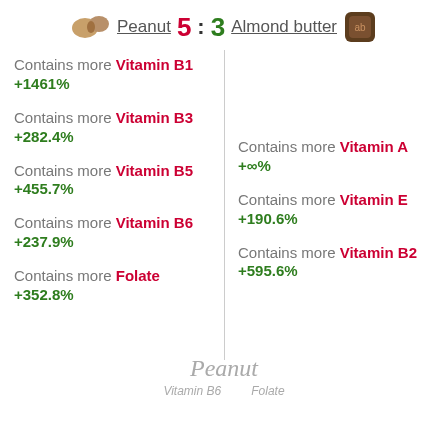Peanut 5 : 3 Almond butter
Contains more Vitamin B1 +1461%
Contains more Vitamin B3 +282.4%
Contains more Vitamin B5 +455.7%
Contains more Vitamin A +∞%
Contains more Vitamin B6 +237.9%
Contains more Vitamin E +190.6%
Contains more Folate +352.8%
Contains more Vitamin B2 +595.6%
Peanut
Vitamin B6   Folate